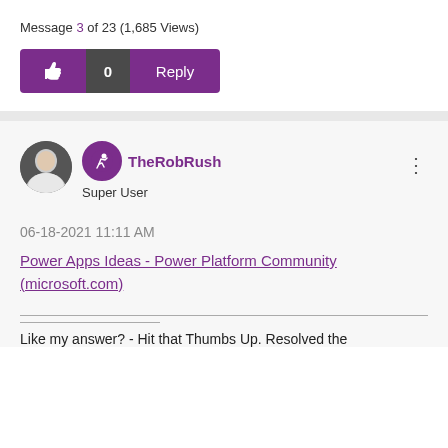Message 3 of 23 (1,685 Views)
[Figure (screenshot): Action bar with thumbs up like button showing 0 likes and a purple Reply button]
[Figure (photo): User profile section showing TheRobRush avatar photo, Super User badge icon, username TheRobRush in purple, role Super User, and three-dot menu]
06-18-2021 11:11 AM
Power Apps Ideas - Power Platform Community (microsoft.com)
Like my answer? - Hit that Thumbs Up. Resolved the